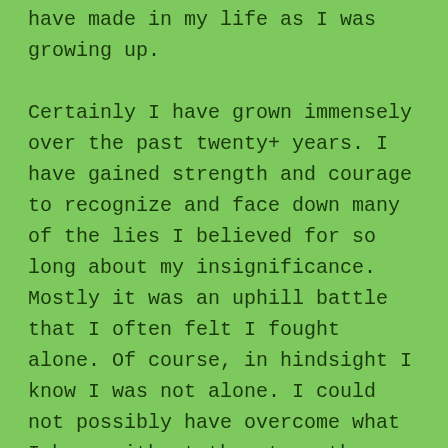have made in my life as I was growing up. Certainly I have grown immensely over the past twenty+ years. I have gained strength and courage to recognize and face down many of the lies I believed for so long about my insignificance. Mostly it was an uphill battle that I often felt I fought alone. Of course, in hindsight I know I was not alone. I could not possibly have overcome what I have without the strength, tenderness, and guidance of God which enabled my heart and soul to begin healing and grow into the life I never believed I was worthy of.
“Owning our story and loving ourselves through that process is the bravest thing that we will ever do”